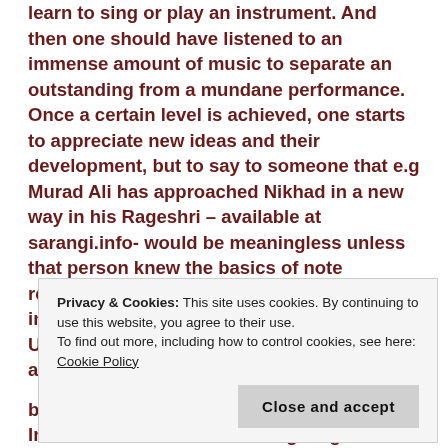learn to sing or play an instrument. And then one should have listened to an immense amount of music to separate an outstanding from a mundane performance. Once a certain level is achieved, one starts to appreciate new ideas and their development, but to say to someone that e.g Murad Ali has approached Nikhad in a new way in his Rageshri – available at sarangi.info- would be meaningless unless that person knew the basics of note recognition. In that respect, sarangi.info has informative articles in its Text Section and Updates. I have myself contributed there and have also written out
Privacy & Cookies: This site uses cookies. By continuing to use this website, you agree to their use.
To find out more, including how to control cookies, see here: Cookie Policy
become part of the curriculum in Pakistan. In the words of Dr. Sehmed's giving...